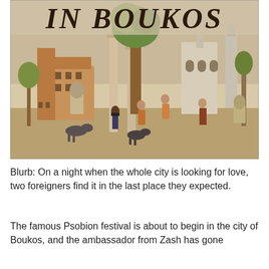[Figure (illustration): A classical/ancient fresco-style illustration showing figures, trees, columns, and ancient Mediterranean architecture including towers and buildings. The top portion shows large text reading 'IN BOUKOS'. Figures and animals (goats/dogs) are scattered in front of the ancient buildings.]
Blurb: On a night when the whole city is looking for love, two foreigners find it in the last place they expected.
The famous Psobion festival is about to begin in the city of Boukos, and the ambassador from Zash has gone